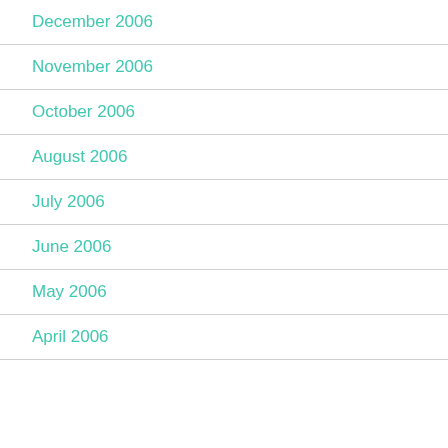December 2006
November 2006
October 2006
August 2006
July 2006
June 2006
May 2006
April 2006